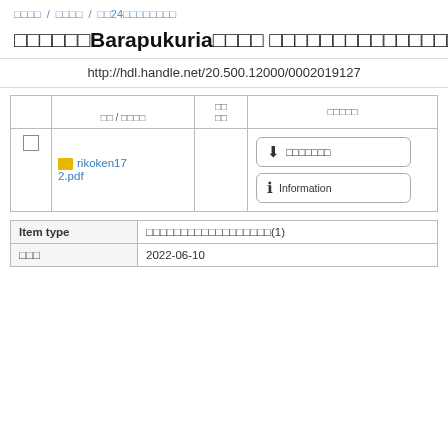[breadcrumb nav with Japanese text and '/ □□24□□□□□□□□□']
□□□□□□Barapukuria□□□□ □□□□□□□□□□□□□□□□□□□□□□□□□□□□□□□□□□□□□□□□□□□
http://hdl.handle.net/20.500.12000/0002019127
| (checkbox) | □□ / □□□□ | □□□□ | □□□□□ |
| --- | --- | --- | --- |
| (checkbox) | 📁 rikoken172.pdf |  | ↓ □□□□□□□  ℹ Information |
| Item type | □□□□□□□□□□□□□□□□□□(1) |
| --- | --- |
| □□□ | 2022-06-10 |